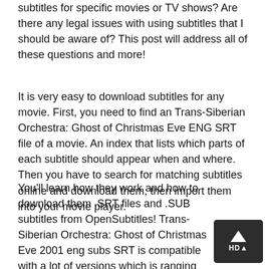subtitles for specific movies or TV shows? Are there any legal issues with using subtitles that I should be aware of? This post will address all of these questions and more!
It is very easy to download subtitles for any movie. First, you need to find an Trans-Siberian Orchestra: Ghost of Christmas Eve ENG SRT file of a movie. An index that lists which parts of each subtitle should appear when and where. Then you have to search for matching subtitles online and download them, then import them into your movie player.
You'll learn how they work and how to download them .SRT files and .SUB subtitles from OpenSubtitles! Trans-Siberian Orchestra: Ghost of Christmas Eve 2001 eng subs SRT is compatible with a lot of versions which is ranging from Blu-ray, HD Rip, 720P, 1080P to many more.